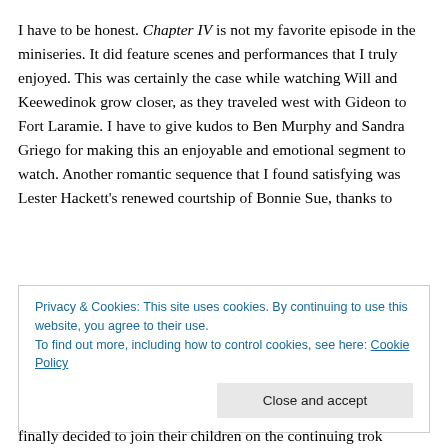I have to be honest. Chapter IV is not my favorite episode in the miniseries. It did feature scenes and performances that I truly enjoyed. This was certainly the case while watching Will and Keewedinok grow closer, as they traveled west with Gideon to Fort Laramie. I have to give kudos to Ben Murphy and Sandra Griego for making this an enjoyable and emotional segment to watch. Another romantic sequence that I found satisfying was Lester Hackett's renewed courtship of Bonnie Sue, thanks to
Privacy & Cookies: This site uses cookies. By continuing to use this website, you agree to their use.
To find out more, including how to control cookies, see here: Cookie Policy
finally decided to join their children on the continuing trok